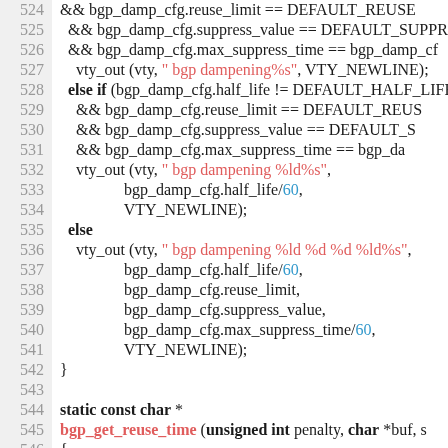[Figure (screenshot): Source code listing in C showing lines 524–546 of a BGP dampening configuration function, with syntax highlighting: keywords in bold, string literals in red/pink, numeric literals in blue.]